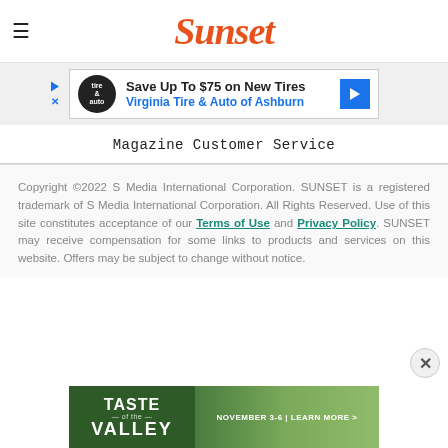Sunset
[Figure (screenshot): Advertisement banner: Save Up To $75 on New Tires - Virginia Tire & Auto of Ashburn]
Magazine Customer Service
Copyright ©2022 S Media International Corporation. SUNSET is a registered trademark of S Media International Corporation. All Rights Reserved. Use of this site constitutes acceptance of our Terms of Use and Privacy Policy. SUNSET may receive compensation for some links to products and services on this website. Offers may be subject to change without notice.
[Figure (screenshot): Bottom advertisement banner: Taste of the Valley - November 3-6 | Learn More >]